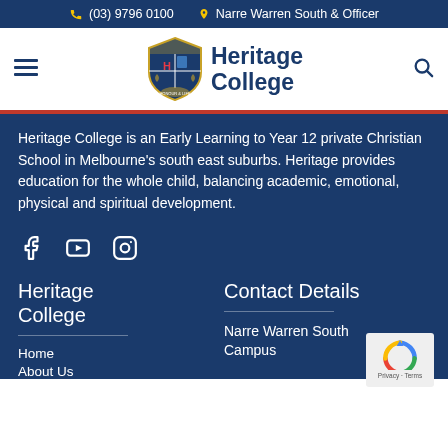(03) 9796 0100  Narre Warren South & Officer
[Figure (logo): Heritage College logo with shield crest and bold navy text reading Heritage College]
Heritage College is an Early Learning to Year 12 private Christian School in Melbourne's south east suburbs. Heritage provides education for the whole child, balancing academic, emotional, physical and spiritual development.
[Figure (illustration): Social media icons: Facebook, YouTube, Instagram]
Heritage College
Home
About Us
Contact Details
Narre Warren South Campus